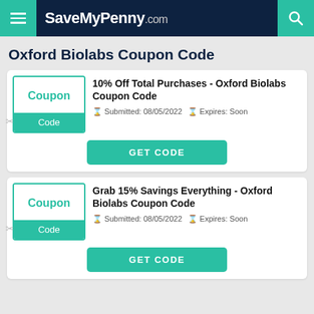SaveMyPenny.com
Oxford Biolabs Coupon Code
10% Off Total Purchases - Oxford Biolabs Coupon Code
Submitted: 08/05/2022   Expires: Soon
GET CODE
Grab 15% Savings Everything - Oxford Biolabs Coupon Code
Submitted: 08/05/2022   Expires: Soon
GET CODE